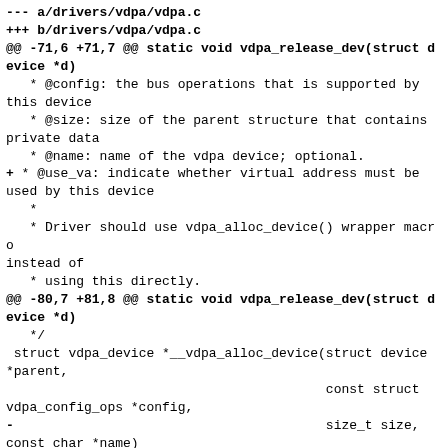--- a/drivers/vdpa/vdpa.c
+++ b/drivers/vdpa/vdpa.c
@@ -71,6 +71,7 @@ static void vdpa_release_dev(struct device *d)
   * @config: the bus operations that is supported by this device
   * @size: size of the parent structure that contains private data
   * @name: name of the vdpa device; optional.
+ * @use_va: indicate whether virtual address must be used by this device
   *
   * Driver should use vdpa_alloc_device() wrapper macro instead of
   * using this directly.
@@ -80,7 +81,8 @@ static void vdpa_release_dev(struct device *d)
   */
 struct vdpa_device *__vdpa_alloc_device(struct device *parent,
                                         const struct vdpa_config_ops *config,
-                                        size_t size,
 const char *name)
+                                        size_t size,
 const char *name,
+                                        bool use_va)
 {
         struct vdpa_device *vdev;
         int err = -EINVAL;